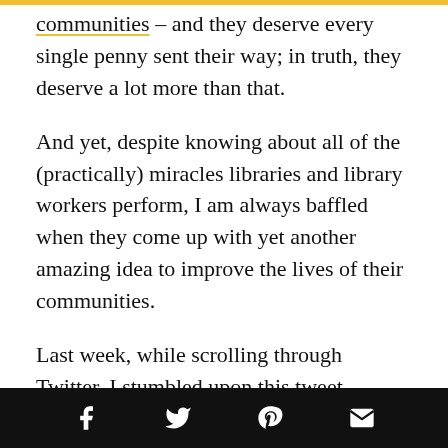communities – and they deserve every single penny sent their way; in truth, they deserve a lot more than that.
And yet, despite knowing about all of the (practically) miracles libraries and library workers perform, I am always baffled when they come up with yet another amazing idea to improve the lives of their communities.
Last week, while scrolling through Twitter, I stumbled upon this tweet, bringing awareness to the existence of working stations for caregivers,
Social share bar with Facebook, Twitter, Pinterest, Email icons